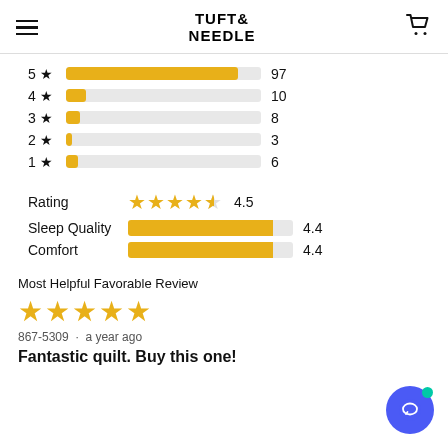TUFT & NEEDLE
[Figure (bar-chart): Star rating distribution]
| Metric | Score | Value |
| --- | --- | --- |
| Rating | ★★★★½ | 4.5 |
| Sleep Quality | bar 4.4/5 | 4.4 |
| Comfort | bar 4.4/5 | 4.4 |
Most Helpful Favorable Review
★★★★★
867-5309  ·  a year ago
Fantastic quilt. Buy this one!